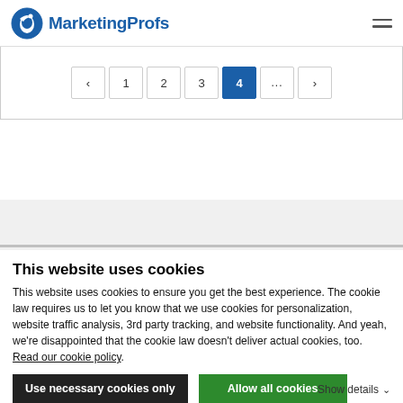MarketingProfs
< 1 2 3 4 ... >
This website uses cookies
This website uses cookies to ensure you get the best experience. The cookie law requires us to let you know that we use cookies for personalization, website traffic analysis, 3rd party tracking, and website functionality. And yeah, we're disappointed that the cookie law doesn't deliver actual cookies, too. Read our cookie policy.
Use necessary cookies only
Allow all cookies
Show details